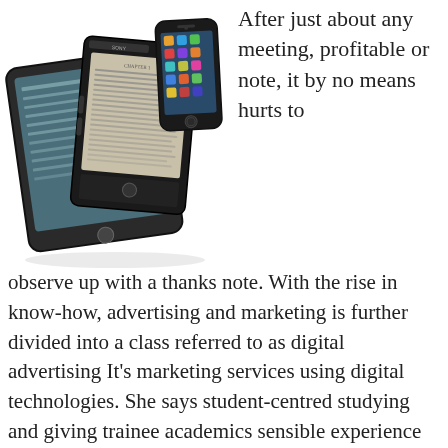[Figure (photo): Three e-reader devices and a smartphone arranged together: a large tablet-style e-reader on the left, a Sony e-reader in the center, a Kindle-style device, and an iPhone on the right.]
After just about any meeting, profitable or note, it by no means hurts to observe up with a thanks note. With the rise in know-how, advertising and marketing is further divided into a class referred to as digital advertising It's marketing services using digital technologies. She says student-centred studying and giving trainee academics sensible experience in the classroom are simply among the factors that make New Zealand's instructor education distinctive. Subsequent, it is advisable to choose the category you are feeling your ebook ought to reside in and the keywords as